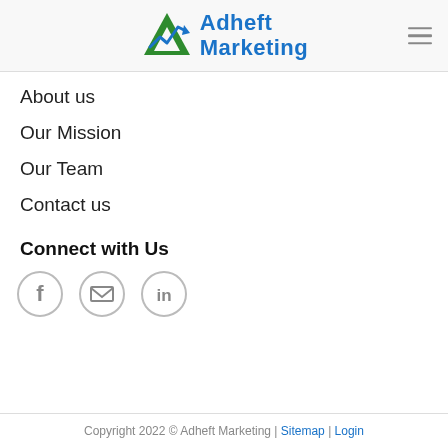[Figure (logo): Adheft Marketing logo with green triangle/mountain icon and blue arrow, text 'Adheft Marketing' in blue]
About us
Our Mission
Our Team
Contact us
Connect with Us
[Figure (illustration): Three circular social icons: Facebook (f), Email (envelope), LinkedIn (in)]
Copyright 2022 © Adheft Marketing | Sitemap | Login